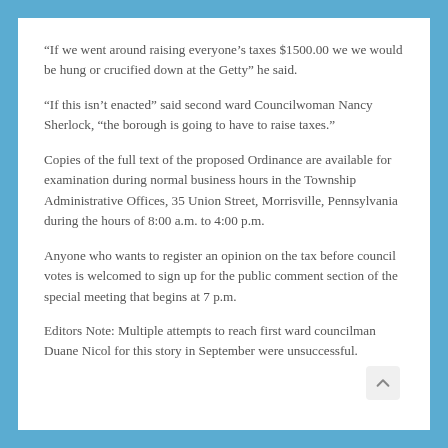“If we went around raising everyone’s taxes $1500.00 we we would be hung or crucified down at the Getty” he said.
“If this isn’t enacted” said second ward Councilwoman Nancy Sherlock, “the borough is going to have to raise taxes.”
Copies of the full text of the proposed Ordinance are available for examination during normal business hours in the Township Administrative Offices, 35 Union Street, Morrisville, Pennsylvania during the hours of 8:00 a.m. to 4:00 p.m.
Anyone who wants to register an opinion on the tax before council votes is welcomed to sign up for the public comment section of the special meeting that begins at 7 p.m.
Editors Note: Multiple attempts to reach first ward councilman Duane Nicol for this story in September were unsuccessful.